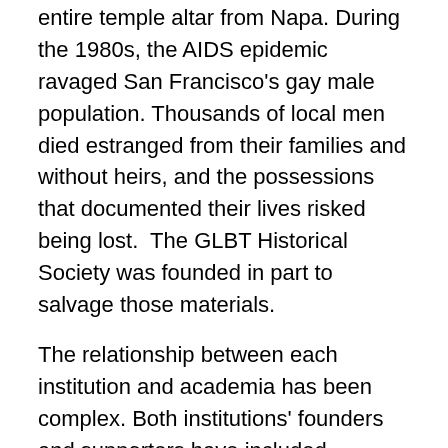entire temple altar from Napa. During the 1980s, the AIDS epidemic ravaged San Francisco's gay male population. Thousands of local men died estranged from their families and without heirs, and the possessions that documented their lives risked being lost.  The GLBT Historical Society was founded in part to salvage those materials.
The relationship between each institution and academia has been complex. Both institutions' founders and supporters have included pioneers who established some of the earliest academic programs and scholarship about their respective communities. CHSA board members Him Mark Lai and Philip Choy were not academically trained as historians, but they developed the first Chinese American history courses at San Francisco State University and University of California, Berkeley. Early GLBT Historical Society supporters Alan Berube and Eric Garber were also